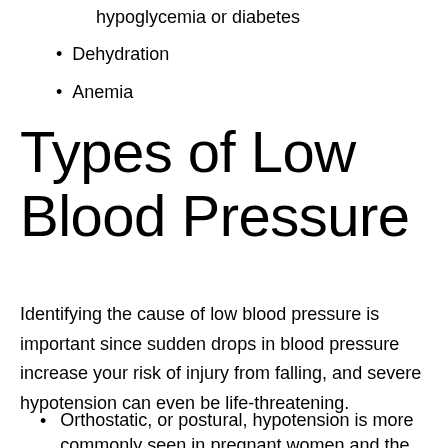hypoglycemia or diabetes
Dehydration
Anemia
Types of Low Blood Pressure
Identifying the cause of low blood pressure is important since sudden drops in blood pressure increase your risk of injury from falling, and severe hypotension can even be life-threatening.
Orthostatic, or postural, hypotension is more commonly seen in pregnant women and the elderly. It